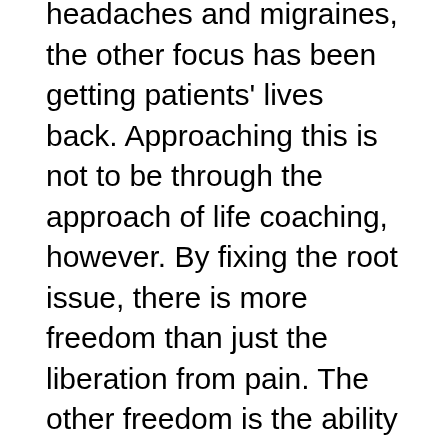headaches and migraines, the other focus has been getting patients' lives back. Approaching this is not to be through the approach of life coaching, however. By fixing the root issue, there is more freedom than just the liberation from pain. The other freedom is the ability to function normally. Unless you have a significant problem with migraines and headaches, most will not understand precisely how much this issue takes away from daily life. And even if you do know that it does, you may not know the full extent of it.
The way headaches and migraines affect your life is something to consider. The pain alone may not even be the most debilitating part of migraines. One of the most significant setbacks is how it damages productivity. It does this in a number of ways. Brain fog is one of the main culprits. And it is generally hard to assess because most